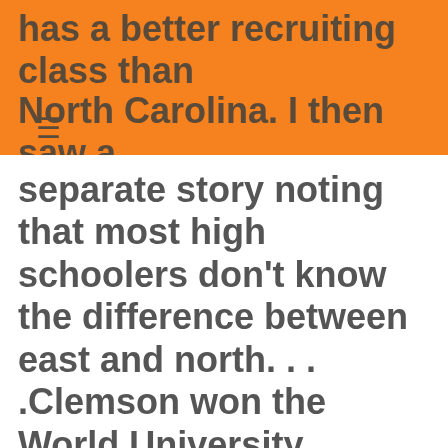has a better recruiting class than North Carolina. I then saw a
separate story noting that most high schoolers don't know the difference between east and north. . . .Clemson won the World University Games making them "the best team in the world". The tournament, however, had a notable omission - all other teams from the U.S. . . .FIBA suspended a former Ohio U player due to a positive urine test for gHC - a pregnancy hormone. Got to